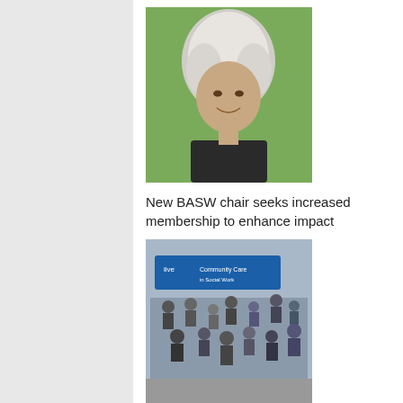[Figure (photo): Portrait photo of an elderly woman with white curly hair, smiling, wearing a dark jacket, green plant background]
New BASW chair seeks increased membership to enhance impact
[Figure (photo): Outdoor scene with a crowd of people at what appears to be a community or social care event, with a blue banner visible, aerial/elevated view]
Were you at the first Community Care Live in 1997?
[Figure (photo): An elderly man seated with a younger person beside him, appearing to be in a domestic or care setting, reviewing documents]
Cost of living crisis ‘severely’ hitting people accessing